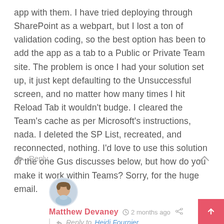app with them. I have tried deploying through SharePoint as a webpart, but I lost a ton of validation coding, so the best option has been to add the app as a tab to a Public or Private Team site. The problem is once I had your solution set up, it just kept defaulting to the Unsuccessful screen, and no matter how many times I hit Reload Tab it wouldn't budge. I cleared the Team's cache as per Microsoft's instructions, nada. I deleted the SP List, recreated, and reconnected, nothing. I'd love to use this solution or the one Gus discusses below, but how do you make it work within Teams? Sorry, for the huge email.
Reply
[Figure (photo): Avatar photo of Matthew Devaney, a man in a light blue shirt]
Matthew Devaney  2 months ago
Reply to Heidi Fournier
Heidi,